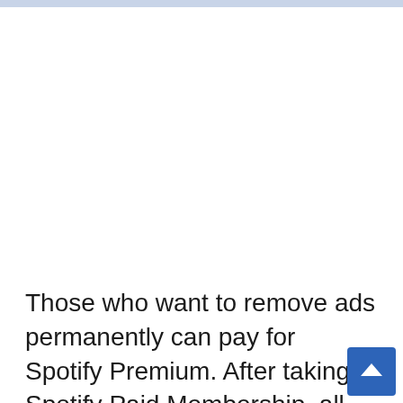Those who want to remove ads permanently can pay for Spotify Premium. After taking a Spotify Paid Membership, all ads are removed and songs can also be downloaded so that